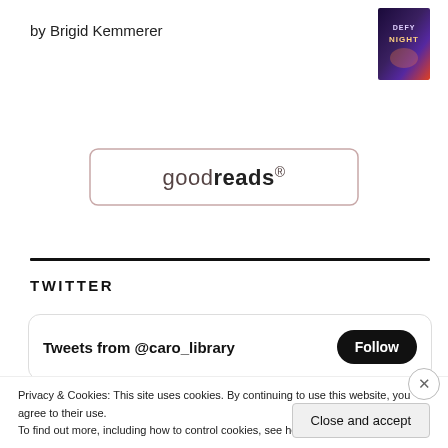by Brigid Kemmerer
[Figure (photo): Book cover for 'Defy the Night' with dark purple/fantasy art]
[Figure (logo): Goodreads button/logo with rounded rectangle border]
TWITTER
[Figure (screenshot): Twitter widget showing 'Tweets from @caro_library' with a Follow button]
Privacy & Cookies: This site uses cookies. By continuing to use this website, you agree to their use.
To find out more, including how to control cookies, see here: Cookie Policy
Close and accept